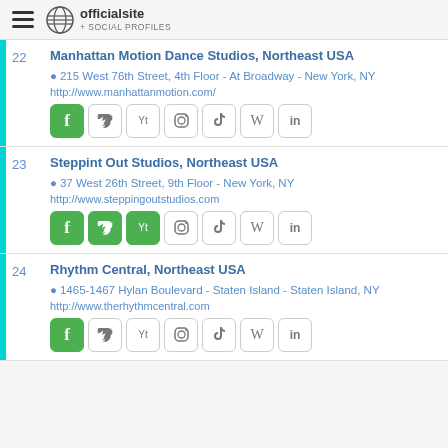officialsite + SOCIAL PROFILES
22 Manhattan Motion Dance Studios, Northeast USA
215 West 76th Street, 4th Floor - At Broadway - New York, NY
http://www.manhattanmotion.com/
23 Steppint Out Studios, Northeast USA
37 West 26th Street, 9th Floor - New York, NY
http://www.steppingoutstudios.com
24 Rhythm Central, Northeast USA
1465-1467 Hylan Boulevard - Staten Island - Staten Island, NY
http://www.therhythmcentral.com